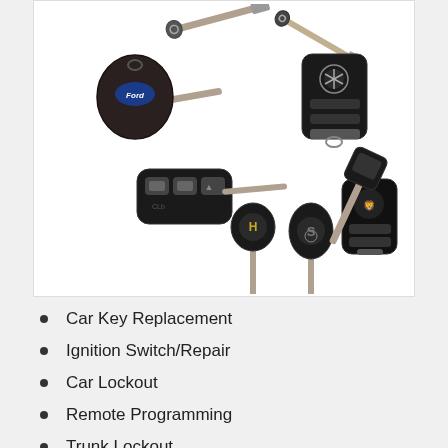[Figure (photo): Collection of various car keys and remote fobs including transponder keys, flip keys, and smart keys from brands like Ford, Mercedes, Hyundai, Suzuki, and Peugeot on a white background]
Car Key Replacement
Ignition Switch/Repair
Car Lockout
Remote Programming
Trunk Lockout
FOB, Flip, Transponder Keys